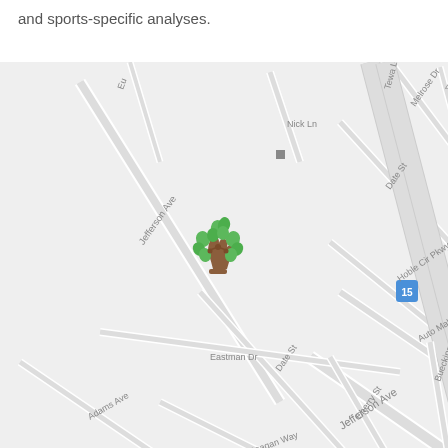and sports-specific analyses.
[Figure (map): Street map showing location marked with a green tree/family logo icon. Map shows streets including Jefferson Ave, Nick Ln, Eastman Dr, Date St, Adams Ave, Reagan Way, Cherry St, Auto Mall Pkwy, Hoble Cir Pkwy, Melrose Dr, Buecking Dr, and Interstate 15. The marker icon is a stylized tree with human figures.]